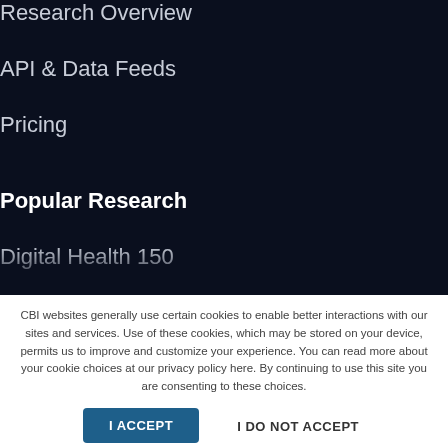Research Overview
API & Data Feeds
Pricing
Popular Research
Digital Health 150
Fintech 250
Retail Tech 100
CBI websites generally use certain cookies to enable better interactions with our sites and services. Use of these cookies, which may be stored on your device, permits us to improve and customize your experience. You can read more about your cookie choices at our privacy policy here. By continuing to use this site you are consenting to these choices.
I ACCEPT
I DO NOT ACCEPT